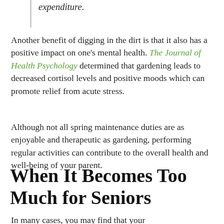expenditure.
Another benefit of digging in the dirt is that it also has a positive impact on one's mental health. The Journal of Health Psychology determined that gardening leads to decreased cortisol levels and positive moods which can promote relief from acute stress.
Although not all spring maintenance duties are as enjoyable and therapeutic as gardening, performing regular activities can contribute to the overall health and well-being of your parent.
When It Becomes Too Much for Seniors
In many cases, you may find that your